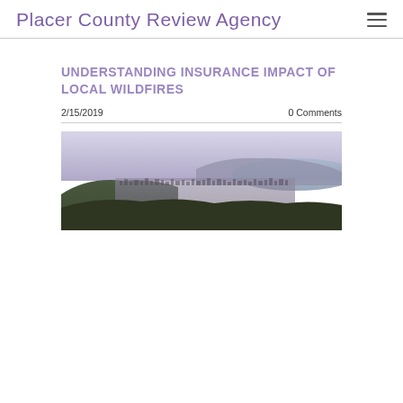Placer County Review Agency
UNDERSTANDING INSURANCE IMPACT OF LOCAL WILDFIRES
2/15/2019	0 Comments
[Figure (photo): Aerial panoramic view of a coastal city with hills, urban sprawl, and water visible in the background under a hazy sky.]